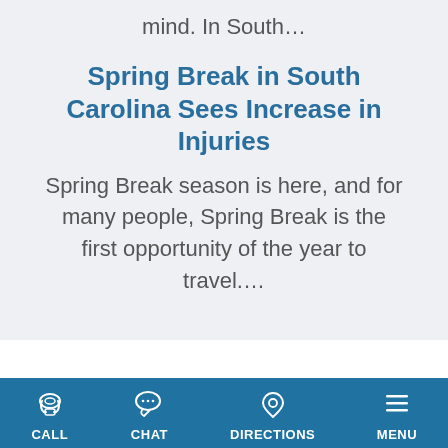mind. In South…
Spring Break in South Carolina Sees Increase in Injuries
Spring Break season is here, and for many people, Spring Break is the first opportunity of the year to travel….
[Figure (infographic): Mobile app navigation bar with four icons: CALL (telephone icon), CHAT (speech bubble icon), DIRECTIONS (map pin icon), MENU (hamburger menu icon) on a dark blue background]